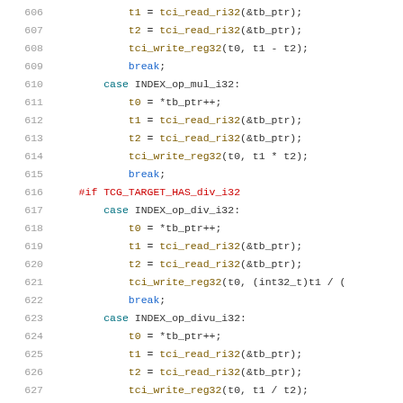606-626 source code lines showing C switch-case for TCI interpreter operations: mul_i32, div_i32, divu_i32